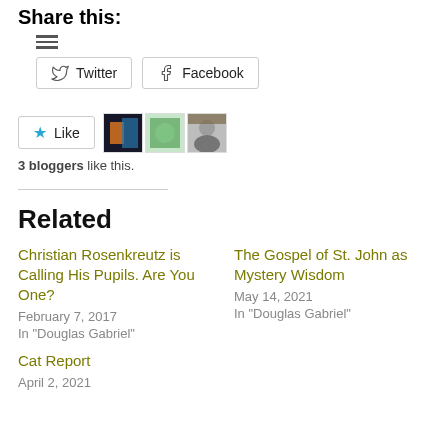Share this:
[Figure (other): Social share buttons for Twitter and Facebook]
[Figure (other): Like button with 3 blogger avatar thumbnails]
3 bloggers like this.
Related
Christian Rosenkreutz is Calling His Pupils. Are You One?
February 7, 2017
In "Douglas Gabriel"
The Gospel of St. John as Mystery Wisdom
May 14, 2021
In "Douglas Gabriel"
Cat Report
April 2, 2021